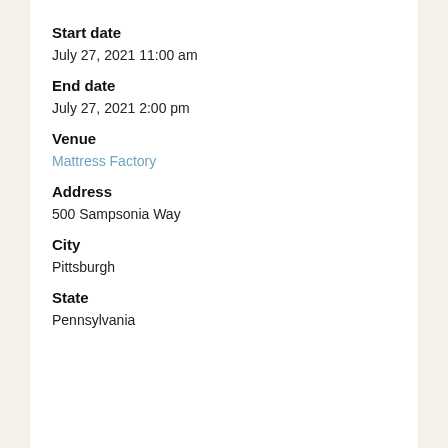Start date
July 27, 2021 11:00 am
End date
July 27, 2021 2:00 pm
Venue
Mattress Factory
Address
500 Sampsonia Way
City
Pittsburgh
State
Pennsylvania